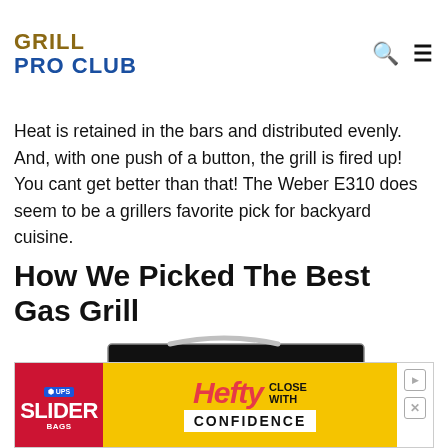GRILL PRO CLUB
Heat is retained in the bars and distributed evenly. And, with one push of a button, the grill is fired up! You cant get better than that! The Weber E310 does seem to be a grillers favorite pick for backyard cuisine.
How We Picked The Best Gas Grill
[Figure (photo): A stainless steel gas grill with lid open, showing grill grates and control knobs, with a side shelf and paper attached.]
[Figure (photo): Advertisement banner for Hefty Slider bags: red section with Hefty Slider branding, yellow section with Hefty logo and 'CLOSE WITH CONFIDENCE' text, and close/skip icons on the right.]